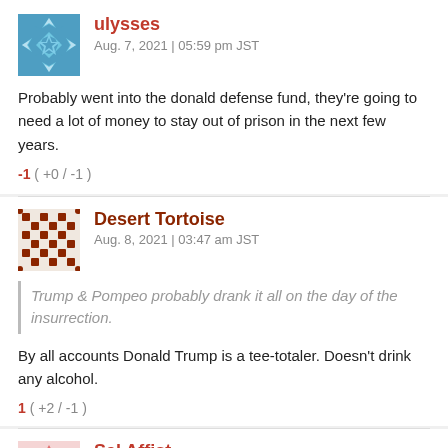ulysses
Aug. 7, 2021 | 05:59 pm JST
Probably went into the donald defense fund, they're going to need a lot of money to stay out of prison in the next few years.
-1 ( +0 / -1 )
Desert Tortoise
Aug. 8, 2021 | 03:47 am JST
Trump & Pompeo probably drank it all on the day of the insurrection.
By all accounts Donald Trump is a tee-totaler. Doesn't drink any alcohol.
1 ( +2 / -1 )
Sal Affist
Aug. 8, 2021 | 06:34 pm JST